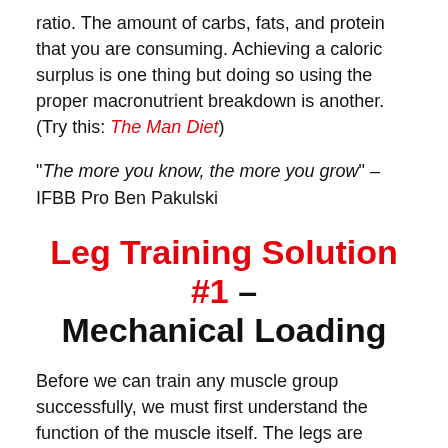ratio. The amount of carbs, fats, and protein that you are consuming. Achieving a caloric surplus is one thing but doing so using the proper macronutrient breakdown is another. (Try this: The Man Diet)
"The more you know, the more you grow" – IFBB Pro Ben Pakulski
Leg Training Solution #1 – Mechanical Loading
Before we can train any muscle group successfully, we must first understand the function of the muscle itself. The legs are made up of more than one section(s) that should all be trained equally in order to achieve nice fullness.